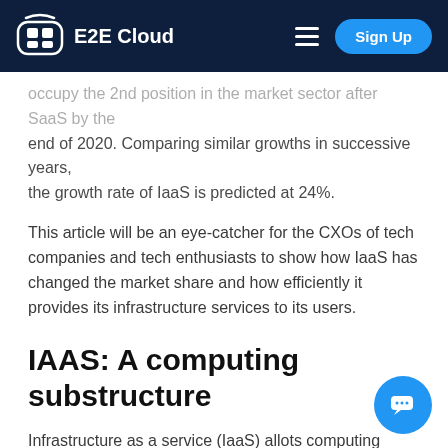E2E Cloud | Sign Up
occupy the 2nd position in the market sector after SaaS by the end of 2020. Comparing similar growths in successive years, the growth rate of IaaS is predicted at 24%.
This article will be an eye-catcher for the CXOs of tech companies and tech enthusiasts to show how IaaS has changed the market share and how efficiently it provides its infrastructure services to its users.
IAAS: A computing substructure
Infrastructure as a service (IaaS) allots computing systems, resources, and properties that are virtualized in nature and provides them to the operator online through its cloud services.
IaaS has the power to reduce expenses and complications of buying and handling our physical servers. IaaS manages the wage by swiftly scaling the usage with a call. It aids in